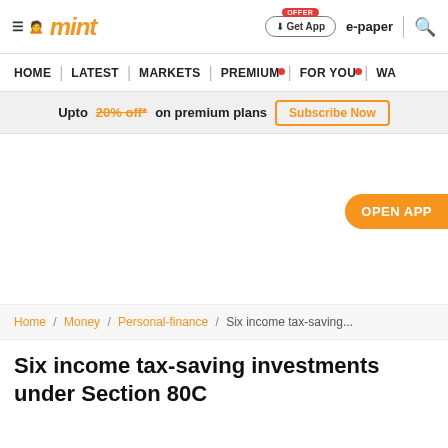mint — Get App | e-paper
HOME | LATEST | MARKETS | PREMIUM | FOR YOU | WA...
Upto 20% off* on premium plans  Subscribe Now
OPEN APP
Home / Money / Personal-finance / Six income tax-saving...
Six income tax-saving investments under Section 80C